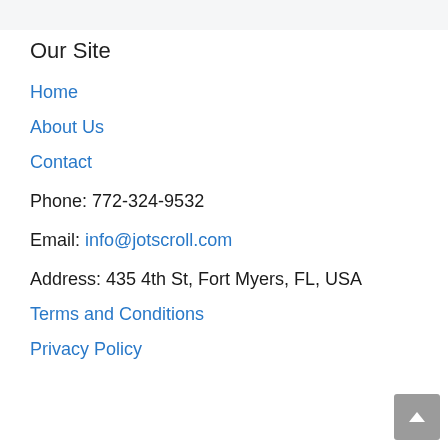Our Site
Home
About Us
Contact
Phone: 772-324-9532
Email: info@jotscroll.com
Address: 435 4th St, Fort Myers, FL, USA
Terms and Conditions
Privacy Policy